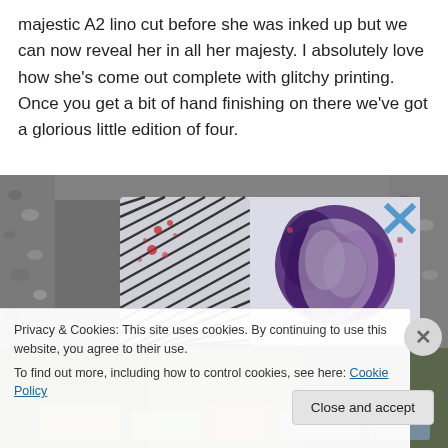majestic A2 lino cut before she was inked up but we can now reveal her in all her majesty. I absolutely love how she's come out complete with glitchy printing. Once you get a bit of hand finishing on there we've got a glorious little edition of four.
[Figure (photo): Photograph of a lino cut print artwork laid on gravel/stone surface. The print shows an abstract floral or animal form in dark purple and white with black diagonal stripe texture on the left side, and a blue X mark in the upper right corner. Splashes of red and pink are visible.]
Privacy & Cookies: This site uses cookies. By continuing to use this website, you agree to their use.
To find out more, including how to control cookies, see here: Cookie Policy